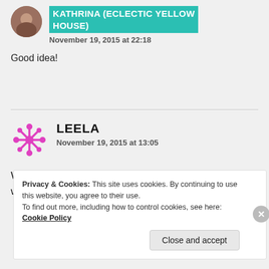KATHRINA (ECLECTIC YELLOW HOUSE)
November 19, 2015 at 22:18
Good idea!
LEELA
November 19, 2015 at 13:05
Well you've changed my mind. The four year old and I will be making this “marshmallow” treat!
Privacy & Cookies: This site uses cookies. By continuing to use this website, you agree to their use. To find out more, including how to control cookies, see here: Cookie Policy
Close and accept